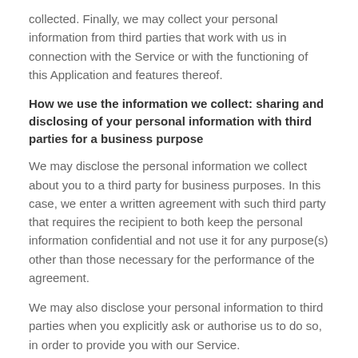collected. Finally, we may collect your personal information from third parties that work with us in connection with the Service or with the functioning of this Application and features thereof.
How we use the information we collect: sharing and disclosing of your personal information with third parties for a business purpose
We may disclose the personal information we collect about you to a third party for business purposes. In this case, we enter a written agreement with such third party that requires the recipient to both keep the personal information confidential and not use it for any purpose(s) other than those necessary for the performance of the agreement.
We may also disclose your personal information to third parties when you explicitly ask or authorise us to do so, in order to provide you with our Service.
To find out more about the purposes of processing, please refer to the relevant section of this document.
No sale of your personal information
In the past 12 months we have not sold any of your personal information.
What are the purposes for which we use your personal